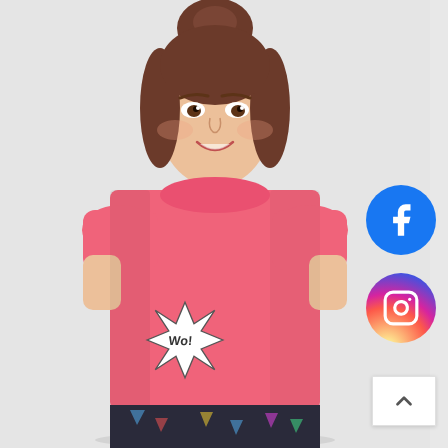[Figure (photo): A young woman with brown hair in an updo, smiling, wearing a coral/pink short-sleeve crew-neck t-shirt with a comic-book style 'Wow!' graphic patch on the lower left side. She is wearing dark patterned shorts at the bottom. The background is light grey. Social media icons (Facebook and Instagram) are overlaid on the right side, and a scroll-to-top arrow button appears in the bottom right corner.]